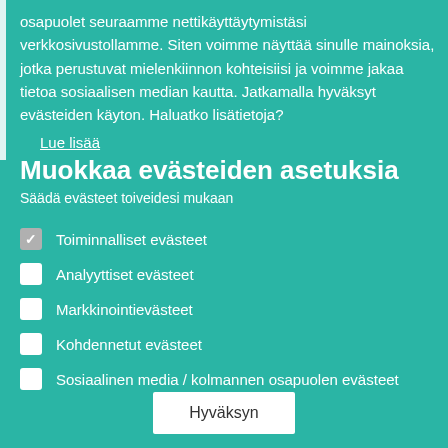osapuolet seuraamme nettikäyttäytymistäsi verkkosivustollamme. Siten voimme näyttää sinulle mainoksia, jotka perustuvat mielenkiinnon kohteisiisi ja voimme jakaa tietoa sosiaalisen median kautta. Jatkamalla hyväksyt evästeiden käyton. Haluatko lisätietoja?
Lue lisää
Muokkaa evästeiden asetuksia
Säädä evästeet toiveidesi mukaan
Toiminnalliset evästeet
Analyyttiset evästeet
Markkinointievästeet
Kohdennetut evästeet
Sosiaalinen media / kolmannen osapuolen evästeet
Hyväksyn